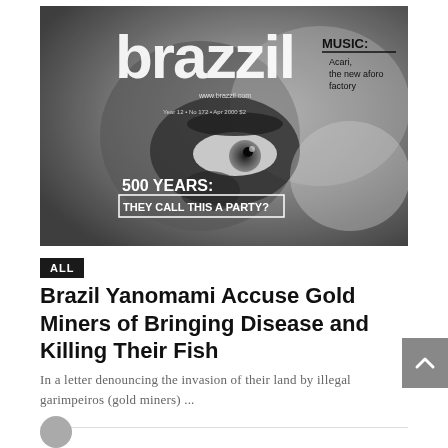[Figure (photo): Black and white magazine cover of 'brazzil' magazine. Shows a close-up face with large eye visible. Text on cover reads: 'brazzil', 'www.brazzil.com', 'Year 12 • No 172 • Apr 2000 • $2', 'MUSIC: Acari, the new aforo factory', '500 YEARS: THEY CALL THIS A PARTY?']
ALL
Brazil Yanomami Accuse Gold Miners of Bringing Disease and Killing Their Fish
In a letter denouncing the invasion of their land by illegal garimpeiros (gold miners) ...